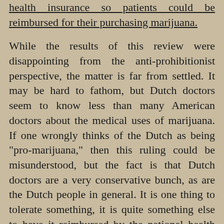health insurance so patients could be reimbursed for their purchasing marijuana.
While the results of this review were disappointing from the anti-prohibitionist perspective, the matter is far from settled. It may be hard to fathom, but Dutch doctors seem to know less than many American doctors about the medical uses of marijuana. If one wrongly thinks of the Dutch as being "pro-marijuana," then this ruling could be misunderstood, but the fact is that Dutch doctors are a very conservative bunch, as are the Dutch people in general. It is one thing to tolerate something, it is quite something else to have it reimbursed by the national health insurance.
In any case, the question before the Dutch doctors was not whether sick people should be arrested for using marijuana. If you were to ask a Dutch doctor that question, the reaction would be emphatically negative.
HOME ///// FEEDBACK/////LINKS/////FREQUENTLY ASKED QUESTIONS